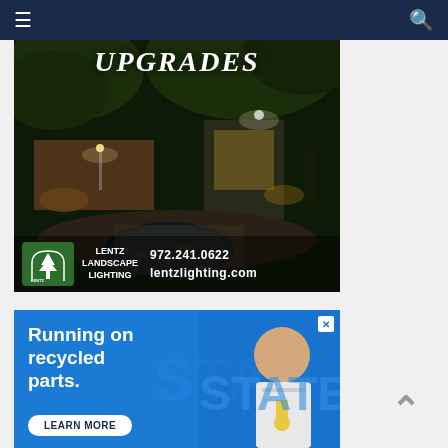Navigation bar with menu icon and search icon
[Figure (photo): Advertisement for Lentz Landscape Lighting showing night-lit outdoor garden/courtyard scene with pond, trees, and architectural lighting. Text reads 'UPGRADES', logo with tree in arch, phone number 972.241.0622, website lentzlighting.com]
[Figure (photo): Advertisement with blue background showing text 'Running on recycled parts.' with a LEARN MORE button and a smiling man wearing a medal on the right side]